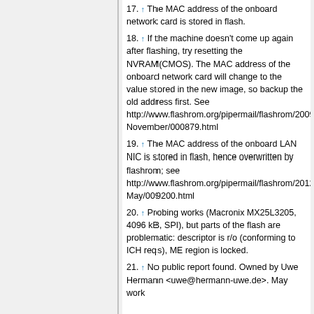17. ↑ The MAC address of the onboard network card is stored in flash.
18. ↑ If the machine doesn't come up again after flashing, try resetting the NVRAM(CMOS). The MAC address of the onboard network card will change to the value stored in the new image, so backup the old address first. See http://www.flashrom.org/pipermail/flashrom/2009-November/000879.html
19. ↑ The MAC address of the onboard LAN NIC is stored in flash, hence overwritten by flashrom; see http://www.flashrom.org/pipermail/flashrom/2012-May/009200.html
20. ↑ Probing works (Macronix MX25L3205, 4096 kB, SPI), but parts of the flash are problematic: descriptor is r/o (conforming to ICH reqs), ME region is locked.
21. ↑ No public report found. Owned by Uwe Hermann <uwe@hermann-uwe.de>. May work